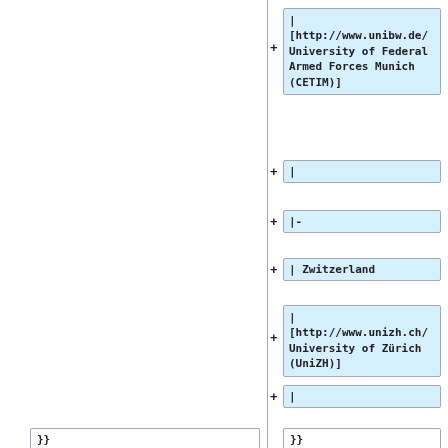| [http://www.unibw.de/ University of Federal Armed Forces Munich (CETIM)]
|
|-
| Zwitzerland
| [http://www.unizh.ch/ University of Zürich (UniZH)]
|
}}
}}
Revision as of 10:41, 14 December 2009
This article presents a summary of research groups at universities and other institutes (many inside Europe) which focus on Network Management research and Network Management software development:
Professional organizations
COMSOC  The IEEE Communications Society